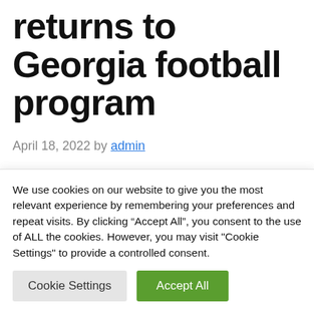returns to Georgia football program
April 18, 2022 by admin
ATHENS — Kirby Smart made his thoughts on the transfer portal incredibly clear when asked about it on Saturday.
We use cookies on our website to give you the most relevant experience by remembering your preferences and repeat visits. By clicking “Accept All”, you consent to the use of ALL the cookies. However, you may visit "Cookie Settings" to provide a controlled consent.